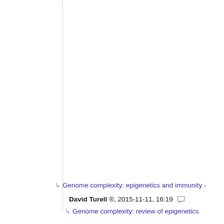Genome complexity: epigenetics and immunity - David Turell ®, 2015-11-11, 16:19
Genome complexity: review of epigenetics